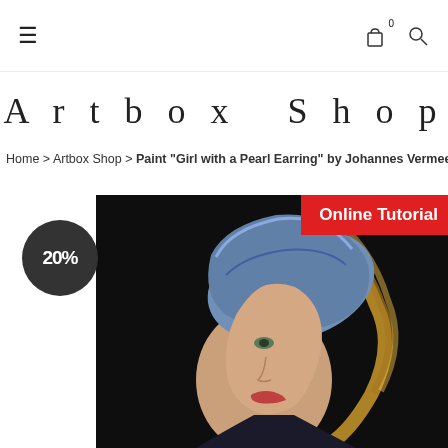≡  [cart icon 0]  [search icon]
Artbox Shop
Home > Artbox Shop > Paint "Girl with a Pearl Earring" by Johannes Vermeer
[Figure (photo): Painting of 'Girl with a Pearl Earring' by Johannes Vermeer — a girl wearing a blue and gold turban, looking over her shoulder against a dark background. A red 'Online Tutorial' banner appears in the top-right corner, and a dark circular badge showing '20%' appears on the left side of the image.]